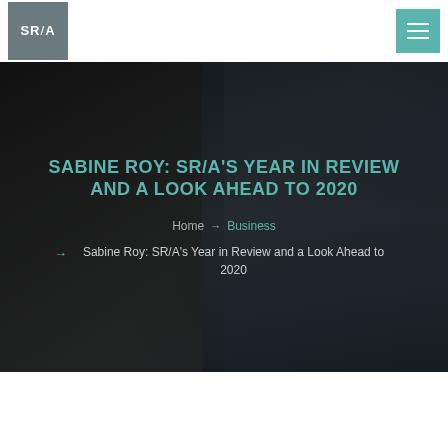[Figure (logo): SR/A logo in grey square box]
[Figure (photo): Art gallery interior with dark artworks on walls and sculptures, used as hero background image]
SABINE ROY: SR/A'S YEAR IN REVIEW AND A LOOK AHEAD TO 2020
Home → Business
Sabine Roy: SR/A's Year in Review and a Look Ahead to 2020